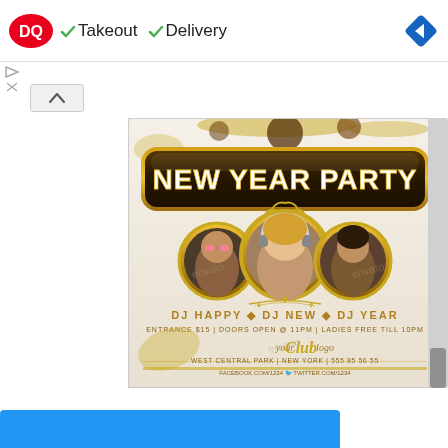[Figure (screenshot): Dairy Queen ad banner with DQ logo, checkmarks for Takeout and Delivery, and a blue navigation arrow icon]
[Figure (illustration): New Year Party flyer with gold and white design showing three DJ portraits in gold circles, text: NEW YEAR PARTY, DJ HAPPY, DJ NEW, DJ YEAR, ENTRANCE $15 | DOORS OPEN @ 11PM | LADIES FREE TILL 10PM, yourClublogo, WEST CENTRAL PARK | NEW YORK | 555 85 56 55, Facebook and Twitter links. Watermarked with envato.]
[Figure (screenshot): Partial blue button visible at bottom of page]